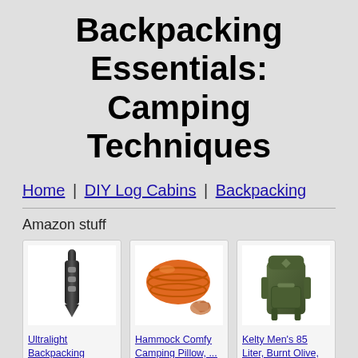Backpacking Essentials: Camping Techniques
Home | DIY Log Cabins | Backpacking
Amazon stuff
[Figure (photo): Ultralight backpacking trowel, black elongated tool with holes]
Ultralight Backpacking Trowel Alumin...
[Figure (photo): Orange inflatable camping pillow with a hand showing its small packed size]
Hammock Comfy Camping Pillow, ...
[Figure (photo): Kelty olive green large backpack 85 liter]
Kelty Men's 85 Liter, Burnt Olive, 85L